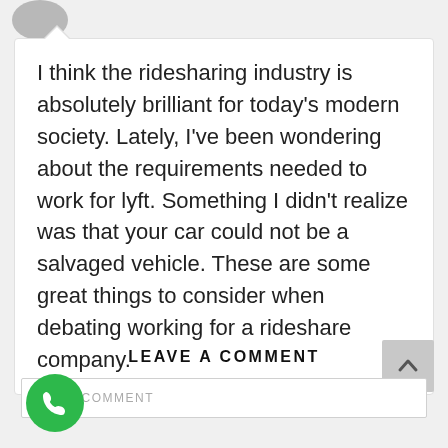[Figure (illustration): Partial grey avatar/profile circle at top left]
I think the ridesharing industry is absolutely brilliant for today's modern society. Lately, I've been wondering about the requirements needed to work for lyft. Something I didn't realize was that your car could not be a salvaged vehicle. These are some great things to consider when debating working for a rideshare company.
LEAVE A COMMENT
YOUR COMMENT
[Figure (illustration): Grey scroll-to-top button with upward chevron arrow]
[Figure (illustration): Green circular phone/call button with handset icon]